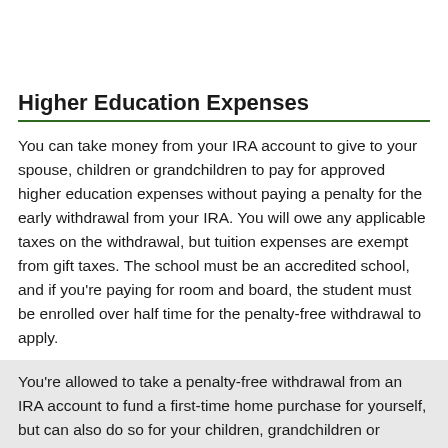Higher Education Expenses
You can take money from your IRA account to give to your spouse, children or grandchildren to pay for approved higher education expenses without paying a penalty for the early withdrawal from your IRA. You will owe any applicable taxes on the withdrawal, but tuition expenses are exempt from gift taxes. The school must be an accredited school, and if you're paying for room and board, the student must be enrolled over half time for the penalty-free withdrawal to apply.
First-Time Home Purchase
You're allowed to take a penalty-free withdrawal from an IRA account to fund a first-time home purchase for yourself, but can also do so for your children, grandchildren or parents. A withdrawal for